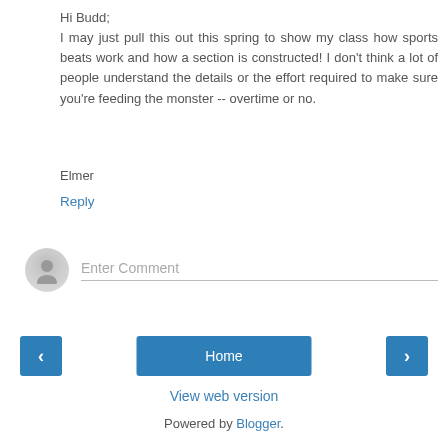Hi Budd;
I may just pull this out this spring to show my class how sports beats work and how a section is constructed! I don't think a lot of people understand the details or the effort required to make sure you're feeding the monster -- overtime or no.
Elmer
Reply
Enter Comment
Home
View web version
Powered by Blogger.